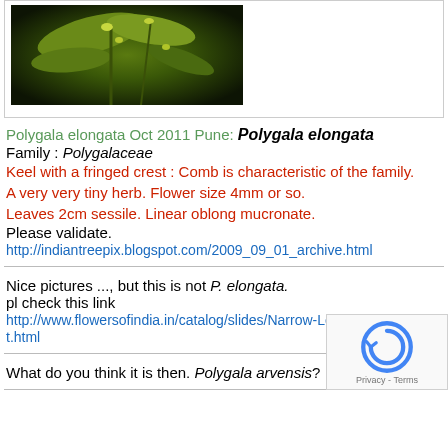[Figure (photo): Close-up photo of Polygala elongata plant with small yellow-green flowers and leaves against a dark background]
Polygala elongata Oct 2011  Pune: Polygala elongata
Family : Polygalaceae
Keel with a fringed crest : Comb is characteristic of the family.
A very very tiny herb. Flower size 4mm or so.
Leaves 2cm sessile. Linear oblong mucronate.
Please validate.
http://indiantreepix.blogspot.com/2009_09_01_archive.html
Nice pictures ..., but this is not P. elongata.
pl check this link
http://www.flowersofindia.in/catalog/slides/Narrow-Leaved%20Milkwort.html
What do you think it is then. Polygala arvensis?